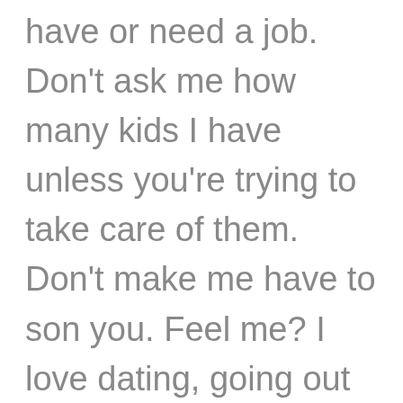have or need a job. Don't ask me how many kids I have unless you're trying to take care of them. Don't make me have to son you. Feel me? I love dating, going out and eating fo free. Free .99 daddy. You can hold the tax. Doing the dutch thing, is a chump move on a budget.